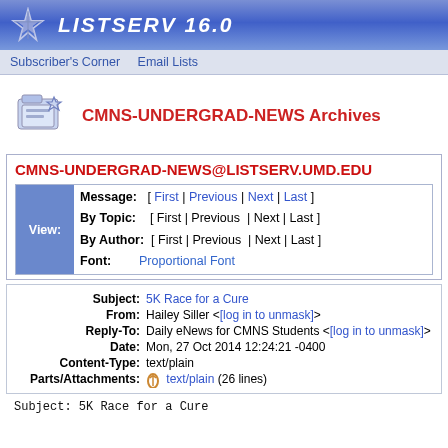LISTSERV 16.0
Subscriber's Corner   Email Lists
CMNS-UNDERGRAD-NEWS Archives
CMNS-UNDERGRAD-NEWS@LISTSERV.UMD.EDU
| View: | Navigation |
| --- | --- |
| Message: | [ First | Previous | Next | Last ] |
| By Topic: | [ First | Previous | Next | Last ] |
| By Author: | [ First | Previous | Next | Last ] |
| Font: | Proportional Font |
| Field | Value |
| --- | --- |
| Subject: | 5K Race for a Cure |
| From: | Hailey Siller <[log in to unmask]> |
| Reply-To: | Daily eNews for CMNS Students <[log in to unmask]> |
| Date: | Mon, 27 Oct 2014 12:24:21 -0400 |
| Content-Type: | text/plain |
| Parts/Attachments: | text/plain (26 lines) |
Subject: 5K Race for a Cure